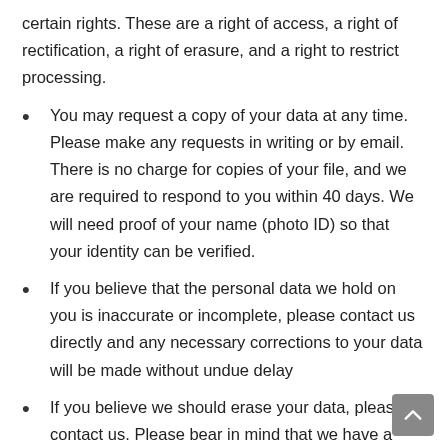certain rights. These are a right of access, a right of rectification, a right of erasure, and a right to restrict processing.
You may request a copy of your data at any time. Please make any requests in writing or by email. There is no charge for copies of your file, and we are required to respond to you within 40 days. We will need proof of your name (photo ID) so that your identity can be verified.
If you believe that the personal data we hold on you is inaccurate or incomplete, please contact us directly and any necessary corrections to your data will be made without undue delay
If you believe we should erase your data, please contact us. Please bear in mind that we have a legal obligation to keep your file for…